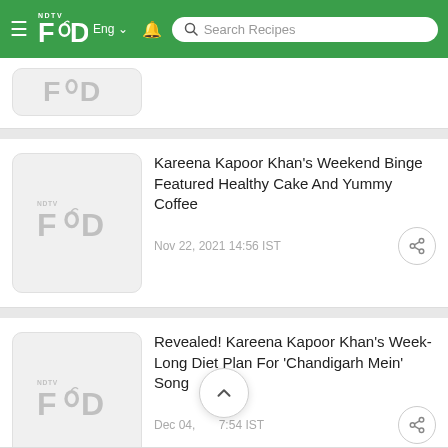NDTV Food — Search Recipes
[Figure (screenshot): Partial article card with NDTV Food placeholder thumbnail]
Kareena Kapoor Khan's Weekend Binge Featured Healthy Cake And Yummy Coffee
Nov 22, 2021 14:56 IST
Revealed! Kareena Kapoor Khan's Week-Long Diet Plan For 'Chandigarh Mein' Song
Dec 04, [2021] 7:54 IST